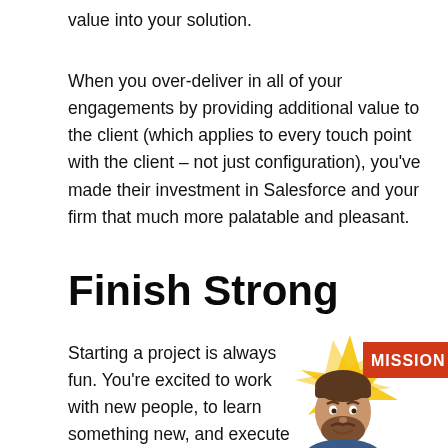value into your solution.
When you over-deliver in all of your engagements by providing additional value to the client (which applies to every touch point with the client – not just configuration), you've made their investment in Salesforce and your firm that much more palatable and pleasant.
Finish Strong
Starting a project is always fun. You're excited to work with new people, to learn something new, and execute
[Figure (illustration): A cartoon bitmoji-style illustration of a man with a beard, with a red banner reading 'MISSION' and gold star/ribbon decorations in the background]